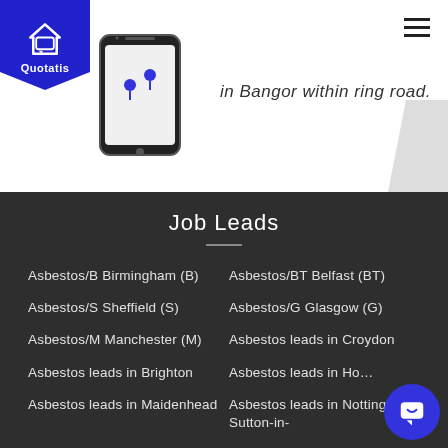[Figure (logo): Quotatis logo — blue shield/badge with house icon and text 'Quotatis']
in Bangor within ring road.
[Figure (screenshot): Partial phone mockup image visible on left side of top white section]
Job Leads
Asbestos/B Birmingham (B)
Asbestos/BT Belfast (BT)
Asbestos/S Sheffield (S)
Asbestos/G Glasgow (G)
Asbestos/M Manchester (M)
Asbestos leads in Croydon
Asbestos leads in Brighton
Asbestos leads in Ho…
Asbestos leads in Maidenhead
Asbestos leads in Nottingham, Sutton-in-